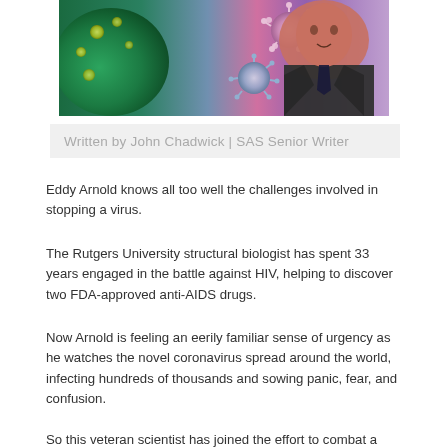[Figure (photo): A man in a dark suit jacket and patterned tie smiling, set against a colorful background showing artistic renderings of viruses and microorganisms in green, blue, pink, and purple tones.]
Written by John Chadwick | SAS Senior Writer
Eddy Arnold knows all too well the challenges involved in stopping a virus.
The Rutgers University structural biologist has spent 33 years engaged in the battle against HIV, helping to discover two FDA-approved anti-AIDS drugs.
Now Arnold is feeling an eerily familiar sense of urgency as he watches the novel coronavirus spread around the world, infecting hundreds of thousands and sowing panic, fear, and confusion.
So this veteran scientist has joined the effort to combat a new threat.